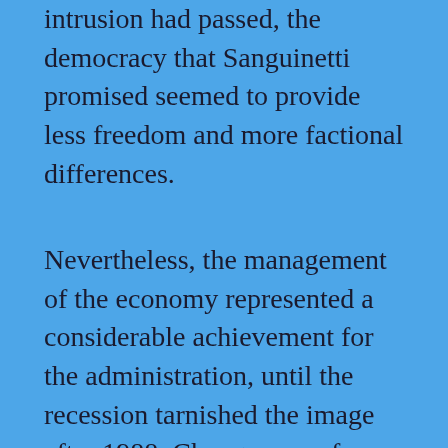intrusion had passed, the democracy that Sanguinetti promised seemed to provide less freedom and more factional differences.
Nevertheless, the management of the economy represented a considerable achievement for the administration, until the recession tarnished the image after 1988. Change came for the old military order as well. Although the Naval Club Pact laid down the terms of the transition from military to civilian rule, it left open the question of the criminal liability of military personnel for human rights abuses committed during the dictatorship. The issue was sharpened in 1985 by the administration's decision to release 250 former Tupamaro guerrillas still held in jail. The rehabilitation of the Tupamaro